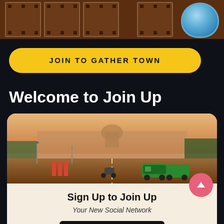[Figure (illustration): Top section showing a film strip illustration with brown/wooden blocks and a decorative bowl in the top right corner, set against a dark brown background]
JOIN TO GATHER TOWN
Welcome to Join Up
[Figure (photo): Street photo showing a wide road in New Delhi (Rajpath/Kartavya Path) with auto-rickshaws, a motorcyclist, and government buildings including a distant dome, under a hazy orange sky]
Sign Up to Join Up
Your New Social Network
REGISTER NOW